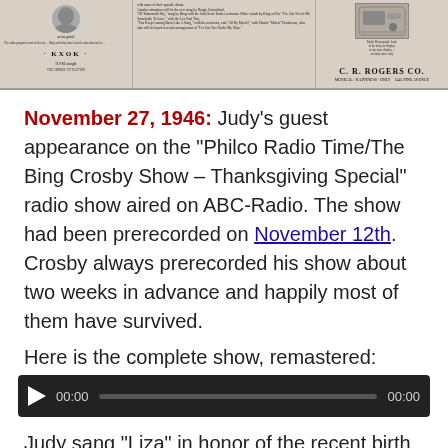[Figure (photo): Scanned newspaper clippings showing vintage radio program advertisements including KXOK radio and C. R. Rogers Co.]
November 27, 1946: Judy's guest appearance on the “Philco Radio Time/The Bing Crosby Show – Thanksgiving Special” radio show aired on ABC-Radio. The show had been prerecorded on November 12th. Crosby always prerecorded his show about two weeks in advance and happily most of them have survived.
Here is the complete show, remastered:
[Figure (other): Audio player with play button, timestamp 00:00, progress bar, and end time 00:00]
Judy sang “Liza” in honor of the recent birth of her